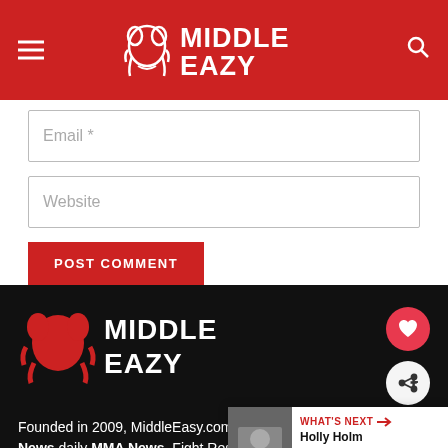[Figure (logo): MiddleEasy.com logo in white on red header bar with hamburger menu and search icon]
Email *
Website
POST COMMENT
[Figure (logo): MiddleEasy.com logo in red/white on dark footer background]
Founded in 2009, MiddleEasy.com provi... News daily MMA News, Fight Results, Street